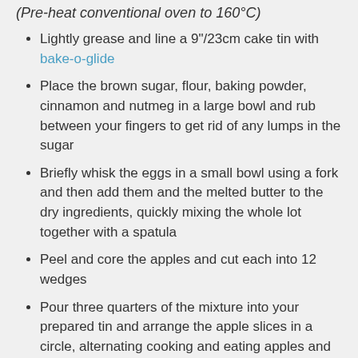(Pre-heat conventional oven to 160°C)
Lightly grease and line a 9"/23cm cake tin with bake-o-glide
Place the brown sugar, flour, baking powder, cinnamon and nutmeg in a large bowl and rub between your fingers to get rid of any lumps in the sugar
Briefly whisk the eggs in a small bowl using a fork and then add them and the melted butter to the dry ingredients, quickly mixing the whole lot together with a spatula
Peel and core the apples and cut each into 12 wedges
Pour three quarters of the mixture into your prepared tin and arrange the apple slices in a circle, alternating cooking and eating apples and